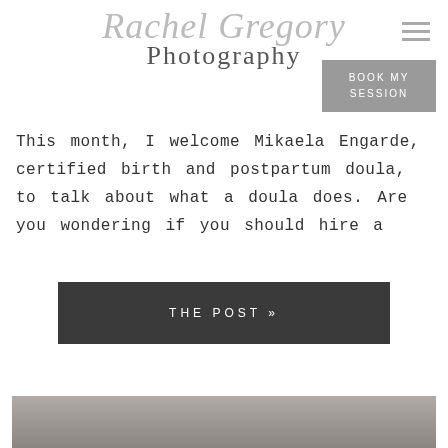Rachel Gregory Photography
This month, I welcome Mikaela Engarde, certified birth and postpartum doula, to talk about what a doula does. Are you wondering if you should hire a
THE POST »
[Figure (photo): Bottom portion of a photograph with dark gray/brown textured surface, partially visible at the bottom of the page.]